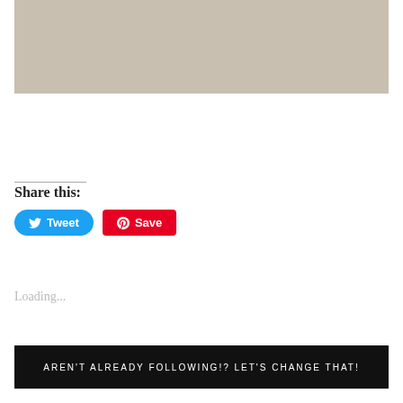[Figure (photo): A beige/tan colored image placeholder at the top of the page]
Share this:
[Figure (other): Tweet button (Twitter/X blue rounded button) and Save button (Pinterest red button)]
Loading...
AREN'T ALREADY FOLLOWING!? LET'S CHANGE THAT!